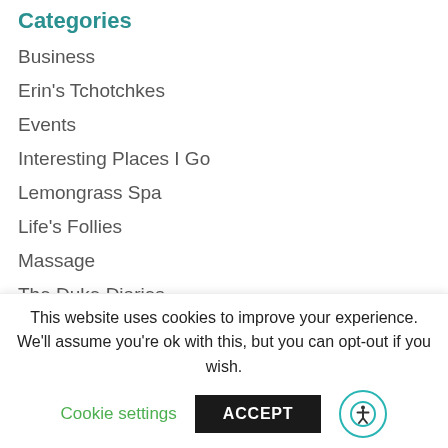Categories
Business
Erin's Tchotchkes
Events
Interesting Places I Go
Lemongrass Spa
Life's Follies
Massage
The Duke Diaries
Archives
This website uses cookies to improve your experience. We'll assume you're ok with this, but you can opt-out if you wish.
Cookie settings  ACCEPT